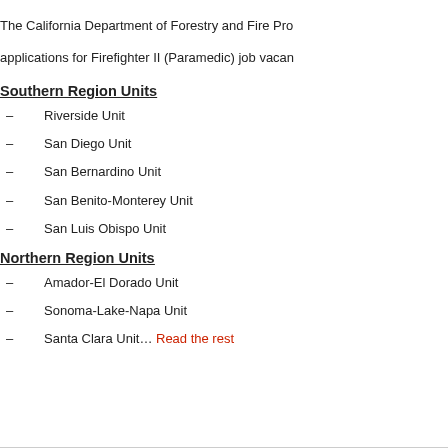The California Department of Forestry and Fire Pro... applications for Firefighter II (Paramedic) job vacan...
Southern Region Units
Riverside Unit
San Diego Unit
San Bernardino Unit
San Benito-Monterey Unit
San Luis Obispo Unit
Northern Region Units
Amador-El Dorado Unit
Sonoma-Lake-Napa Unit
Santa Clara Unit… Read the rest